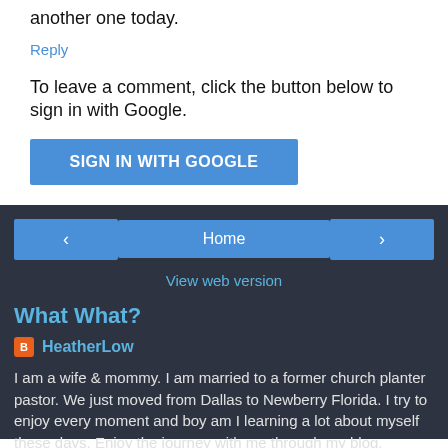another one today.
Reply
To leave a comment, click the button below to sign in with Google.
SIGN IN WITH GOOGLE
‹
Home
›
View web version
What What?
HeatherLow
I am a wife & mommy. I am married to a former church planter pastor. We just moved from Dallas to Newberry Florida. I try to enjoy every moment and boy am I learning a lot about myself these days. Enjoy the journey with me through my blog.